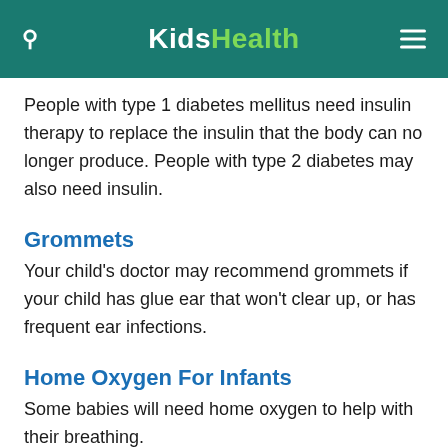KidsHealth
People with type 1 diabetes mellitus need insulin therapy to replace the insulin that the body can no longer produce. People with type 2 diabetes may also need insulin.
Grommets
Your child's doctor may recommend grommets if your child has glue ear that won't clear up, or has frequent ear infections.
Home Oxygen For Infants
Some babies will need home oxygen to help with their breathing.